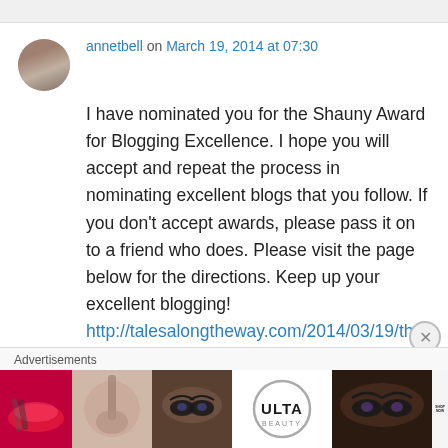annetbell on March 19, 2014 at 07:30
I have nominated you for the Shauny Award for Blogging Excellence. I hope you will accept and repeat the process in nominating excellent blogs that you follow. If you don't accept awards, please pass it on to a friend who does. Please visit the page below for the directions. Keep up your excellent blogging!
http://talesalongtheway.com/2014/03/19/the-shauny-award/
Advertisements